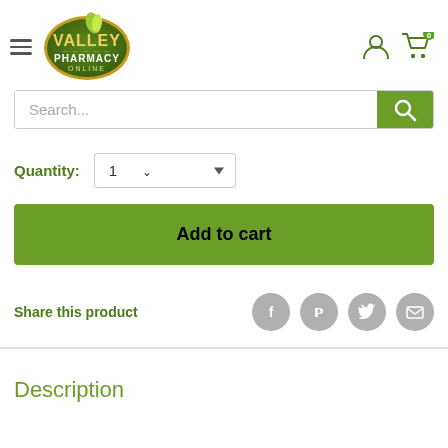[Figure (logo): Valley Pharmacy Online logo - oval green badge with gold border]
Search...
Quantity: 1
Add to cart
Share this product
Description